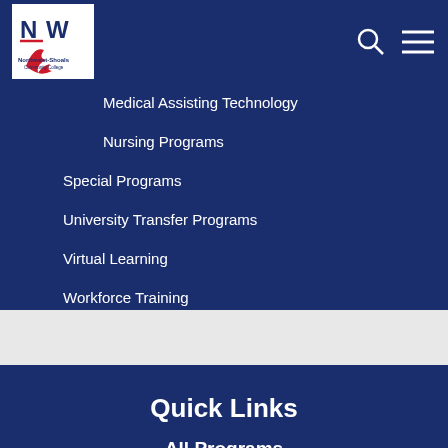[Figure (logo): Northwest-Shoals Community College logo with NW letters and red swoosh/flame design on white background]
Medical Assisting Technology
Nursing Programs
Special Programs
University Transfer Programs
Virtual Learning
Workforce Training
Quick Links
All Programs